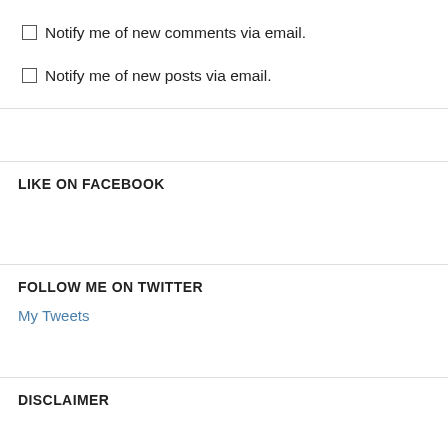Notify me of new comments via email.
Notify me of new posts via email.
LIKE ON FACEBOOK
FOLLOW ME ON TWITTER
My Tweets
DISCLAIMER